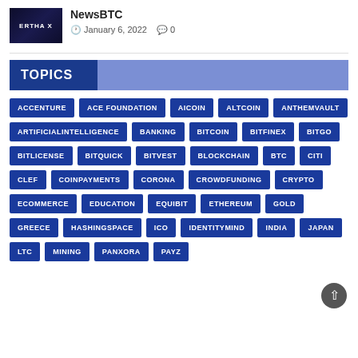[Figure (photo): Thumbnail image with dark background showing 'ERTHA X' text]
NewsBTC
January 6, 2022  0
TOPICS
ACCENTURE
ACE FOUNDATION
AICOIN
ALTCOIN
ANTHEMVAULT
ARTIFICIALINTELLIGENCE
BANKING
BITCOIN
BITFINEX
BITGO
BITLICENSE
BITQUICK
BITVEST
BLOCKCHAIN
BTC
CITI
CLEF
COINPAYMENTS
CORONA
CROWDFUNDING
CRYPTO
ECOMMERCE
EDUCATION
EQUIBIT
ETHEREUM
GOLD
GREECE
HASHINGSPACE
ICO
IDENTITYMIND
INDIA
JAPAN
LTC
MINING
PANXORA
PAYZ